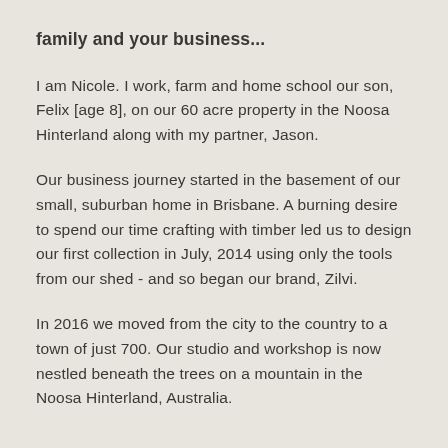family and your business...
I am Nicole. I work, farm and home school our son, Felix [age 8], on our 60 acre property in the Noosa Hinterland along with my partner, Jason.
Our business journey started in the basement of our small, suburban home in Brisbane. A burning desire to spend our time crafting with timber led us to design our first collection in July, 2014 using only the tools from our shed - and so began our brand, Zilvi.
In 2016 we moved from the city to the country to a town of just 700. Our studio and workshop is now nestled beneath the trees on a mountain in the Noosa Hinterland, Australia.